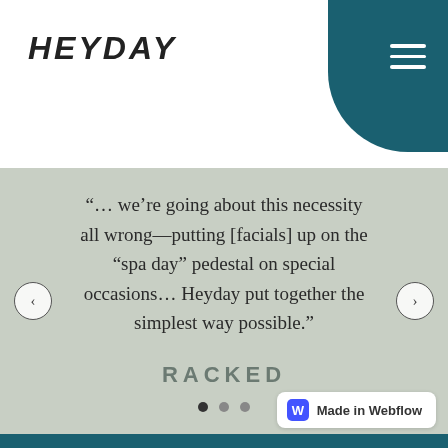HEYDAY
“… we’re going about this necessity all wrong—putting [facials] up on the “spa day” pedestal on special occasions… Heyday put together the simplest way possible.”
[Figure (logo): RACKED publication logo in muted gray uppercase letters]
Made in Webflow